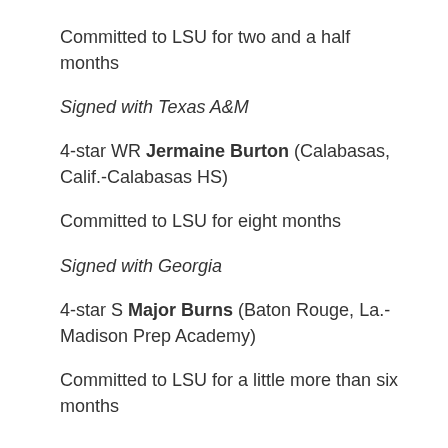Committed to LSU for two and a half months
Signed with Texas A&M
4-star WR Jermaine Burton (Calabasas, Calif.-Calabasas HS)
Committed to LSU for eight months
Signed with Georgia
4-star S Major Burns (Baton Rouge, La.-Madison Prep Academy)
Committed to LSU for a little more than six months